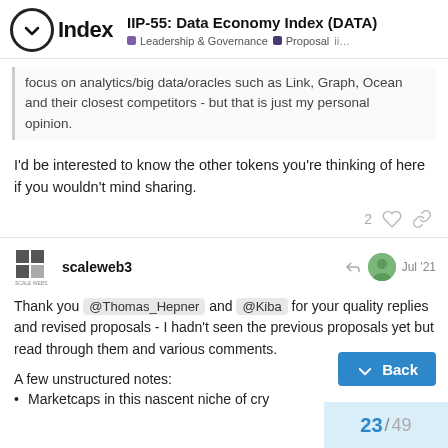IIP-55: Data Economy Index (DATA) — Leadership & Governance | Proposal | ii...
focus on analytics/big data/oracles such as Link, Graph, Ocean and their closest competitors - but that is just my personal opinion.
I'd be interested to know the other tokens you're thinking of here if you wouldn't mind sharing.
scaleweb3   Jul '21
Thank you @Thomas_Hepner and @Kiba for your quality replies and revised proposals - I hadn't seen the previous proposals yet but read through them and various comments.
A few unstructured notes:
Marketcaps in this nascent niche of cry...